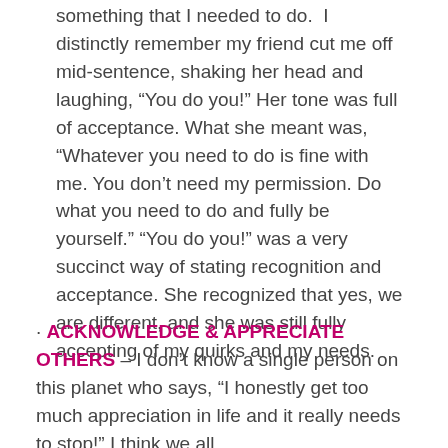something that I needed to do. I distinctly remember my friend cut me off mid-sentence, shaking her head and laughing, “You do you!” Her tone was full of acceptance. What she meant was, “Whatever you need to do is fine with me. You don’t need my permission. Do what you need to do and fully be yourself.” “You do you!” was a very succinct way of stating recognition and acceptance. She recognized that yes, we are different, and she was still fully accepting of my quirks and my needs.
· ACKNOWLEDGE & APPRECIATE OTHERS – I don’t know a single person on this planet who says, “I honestly get too much appreciation in life and it really needs to stop!” I think we all